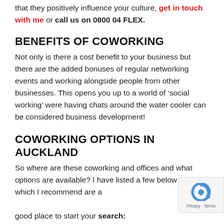that they positively influence your culture, get in touch with me or call us on 0800 04 FLEX.
BENEFITS OF COWORKING
Not only is there a cost benefit to your business but there are the added bonuses of regular networking events and working alongside people from other businesses. This opens you up to a world of ‘social working’ were having chats around the water cooler can be considered business development!
COWORKING OPTIONS IN AUCKLAND
So where are these coworking and offices and what options are available? I have listed a few below for which I recommend are a good place to start your search: